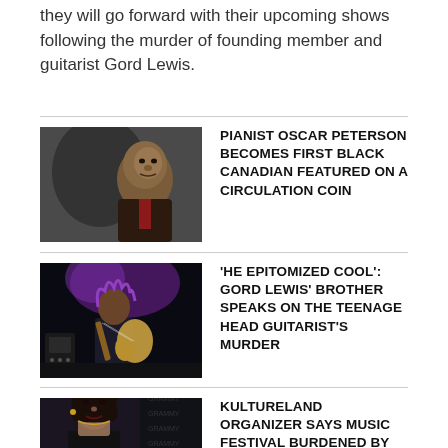they will go forward with their upcoming shows following the murder of founding member and guitarist Gord Lewis.
[Figure (photo): Photo of Oscar Peterson, elderly Black man in suit, with a shadowed portrait in background]
PIANIST OSCAR PETERSON BECOMES FIRST BLACK CANADIAN FEATURED ON A CIRCULATION COIN
[Figure (photo): Photo of Gord Lewis playing electric guitar on stage with purple lighting]
'HE EPITOMIZED COOL': GORD LEWIS' BROTHER SPEAKS ON THE TEENAGE HEAD GUITARIST'S MURDER
[Figure (photo): Photo of a young woman at a formal event, possibly Grammy Awards]
KULTURELAND ORGANIZER SAYS MUSIC FESTIVAL BURDENED BY